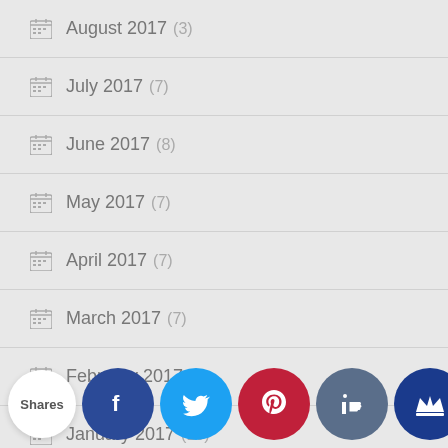August 2017 (3)
July 2017 (7)
June 2017 (8)
May 2017 (7)
April 2017 (7)
March 2017 (7)
February 2017 (8)
January 2017 (10)
December 2016 (8)
November 2016 (7)